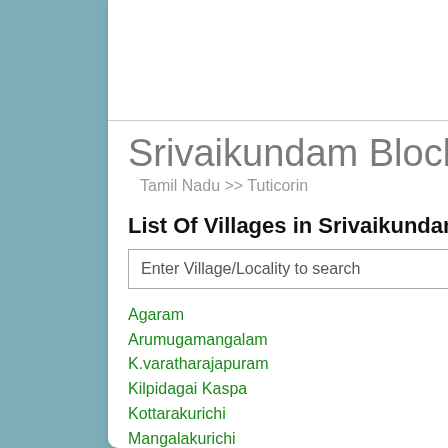Srivaikundam Block
Tamil Nadu >> Tuticorin
List Of Villages in Srivaikundam
Agaram
Aniyaparanallur
Arumugamangalam
Idayar Kadu
K.varatharajapuram
Kilpidagai Appankovil
Kilpidagai Kaspa
Korkai
Kottarakurichi
Kovankadu
Mangalakurichi
Manjaneerkayal
Maramangalam
Mukkani
Nattathi
Padpanabamangalam
Palayakayal
Parakiramapandi
Peroor
Sivagalai
Soolaivaikal
Srimoolakarai
Sriparangusanallur
Sriuthoundanallur
Srivaikundam
Thirupannichettikulam
Thirupulivangudi
Thalappar Pannai